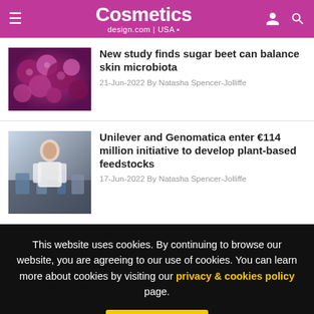Cosmetics design.com | USA
[Figure (photo): Close-up of purple/pink spherical objects resembling berries or cosmetic beads]
New study finds sugar beet can balance skin microbiota
21-Jun-2022 By Natasha Spencer-Jolliffe
[Figure (photo): Scientist or researcher working in a laboratory setting]
Unilever and Genomatica enter €114 million initiative to develop plant-based feedstocks
17-Jun-2022 By Natasha Spencer-Jolliffe
This website uses cookies. By continuing to browse our website, you are agreeing to our use of cookies. You can learn more about cookies by visiting our privacy & cookies policy page.